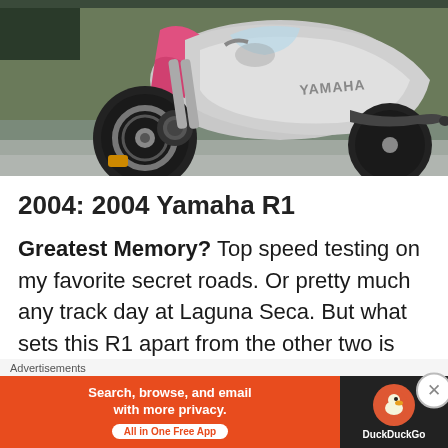[Figure (photo): Close-up photo of a silver and pink Yamaha R1 sport motorcycle on a racetrack, showing the front wheel, brake disc, engine, and fairing with YAMAHA lettering visible.]
2004: 2004 Yamaha R1
Greatest Memory? Top speed testing on my favorite secret roads. Or pretty much any track day at Laguna Seca. But what sets this R1 apart from the other two is that it wa
Advertisements
[Figure (screenshot): DuckDuckGo advertisement banner: orange left panel reads 'Search, browse, and email with more privacy. All in One Free App' with a white button, and black right panel shows DuckDuckGo logo and name.]